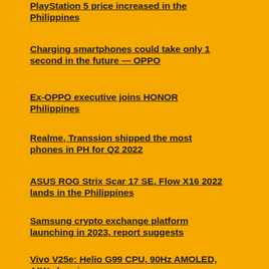PlayStation 5 price increased in the Philippines
Charging smartphones could take only 1 second in the future — OPPO
Ex-OPPO executive joins HONOR Philippines
Realme, Transsion shipped the most phones in PH for Q2 2022
ASUS ROG Strix Scar 17 SE, Flow X16 2022 lands in the Philippines
Samsung crypto exchange platform launching in 2023, report suggests
Vivo V25e: Helio G99 CPU, 90Hz AMOLED, 44W charging
Users can now post NFT on Facebook and Instagram